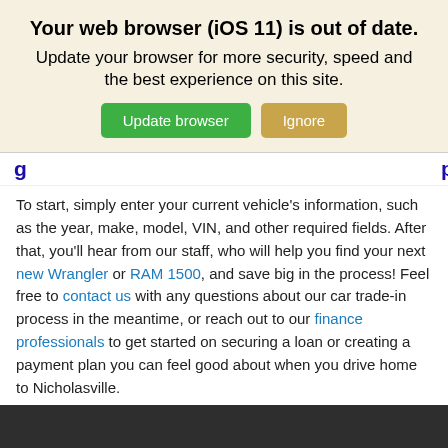Your web browser (iOS 11) is out of date. Update your browser for more security, speed and the best experience on this site.
[Figure (screenshot): Two buttons: 'Update browser' (green) and 'Ignore' (tan/gold)]
[partial heading text, clipped]
To start, simply enter your current vehicle’s information, such as the year, make, model, VIN, and other required fields. After that, you’ll hear from our staff, who will help you find your next new Wrangler or RAM 1500, and save big in the process! Feel free to contact us with any questions about our car trade-in process in the meantime, or reach out to our finance professionals to get started on securing a loan or creating a payment plan you can feel good about when you drive home to Nicholasville.
[Figure (logo): Dan Cummins Chrysler Dodge Jeep RAM of Paris logo on dark background]
This site uses cookies.